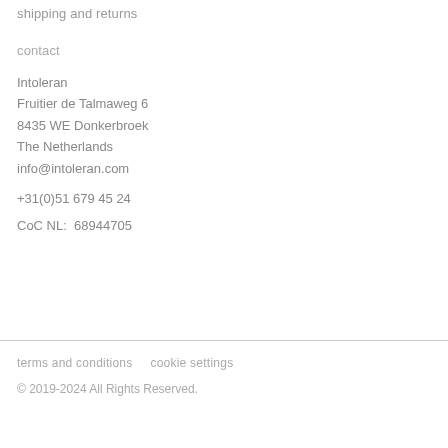shipping and returns
contact
Intoleran
Fruitier de Talmaweg 6
8435 WE Donkerbroek
The Netherlands
info@intoleran.com
+31(0)51 679 45 24
CoC NL:  68944705
terms and conditions    cookie settings
© 2019-2024 All Rights Reserved.